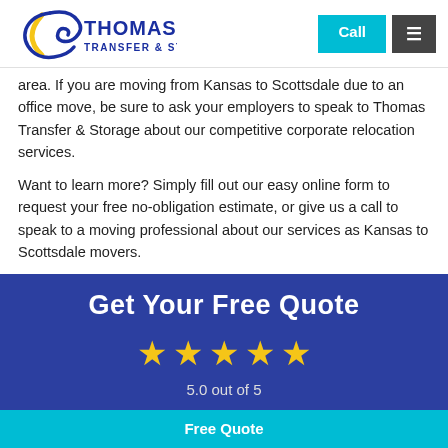[Figure (logo): Thomas Transfer & Storage company logo with blue eagle/C swoosh graphic and yellow arc]
area. If you are moving from Kansas to Scottsdale due to an office move, be sure to ask your employers to speak to Thomas Transfer & Storage about our competitive corporate relocation services.
Want to learn more? Simply fill out our easy online form to request your free no-obligation estimate, or give us a call to speak to a moving professional about our services as Kansas to Scottsdale movers.
Get Your Free Quote
5.0 out of 5
Free Quote